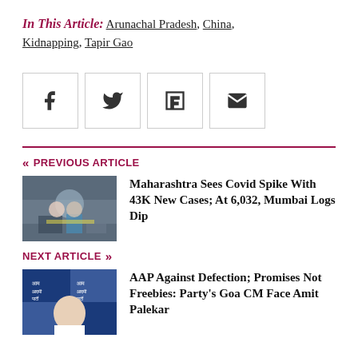In This Article: Arunachal Pradesh, China, Kidnapping, Tapir Gao
[Figure (infographic): Social sharing icons: Facebook, Twitter, Flipboard, Email]
« PREVIOUS ARTICLE
[Figure (photo): News photo showing people in a crowded area, one person in blue PPE suit, related to Maharashtra Covid spike story]
Maharashtra Sees Covid Spike With 43K New Cases; At 6,032, Mumbai Logs Dip
NEXT ARTICLE »
[Figure (photo): News photo of man speaking at AAP podium with party banners in background]
AAP Against Defection; Promises Not Freebies: Party's Goa CM Face Amit Palekar